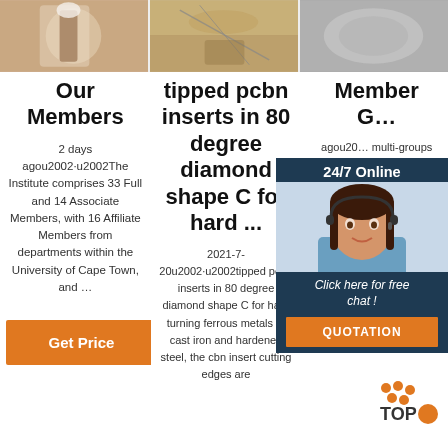[Figure (photo): Three product/lifestyle photos in a horizontal strip at top: left shows hands with a brush and product, center shows jewelry/necklace on wood, right shows a fluffy gray material]
Our Members
2 days agou2002·u2002The Institute comprises 33 Full and 14 Associate Members, with 16 Affiliate Members from departments within the University of Cape Town, and …
Get Price
tipped pcbn inserts in 80 degree diamond shape C for hard ...
2021-7-20u2002·u2002tipped pcbn inserts in 80 degree diamond shape C for hard turning ferrous metals of cast iron and hardened steel, the cbn insert cutting edges are
Member G…
agou20… multi-groups princi TB/HI… South Vacci… (SATVI), which includes Mark Hatherill (Director), Tom Scriba (Dep Director) and Elisa Nemes; The Wellco… C…
[Figure (infographic): Customer service chat widget overlay with dark navy background, showing '24/7 Online' header, photo of smiling woman with headset, 'Click here for free chat !' text, and orange QUOTATION button]
[Figure (logo): TOP logo with orange dot pattern in bottom-right corner]